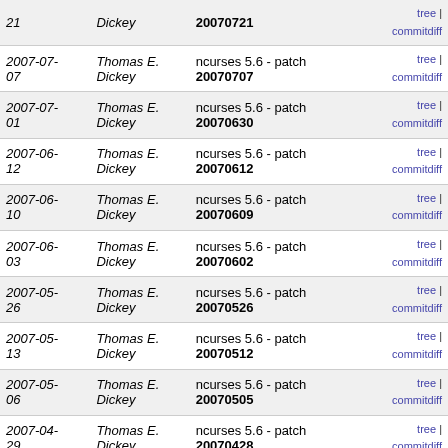| Date | Author | Commit | Links |
| --- | --- | --- | --- |
| 21 | Dickey | ncurses 5.6 - patch 20070721 | tree | commitdiff |
| 2007-07-07 | Thomas E. Dickey | ncurses 5.6 - patch 20070707 | tree | commitdiff |
| 2007-07-01 | Thomas E. Dickey | ncurses 5.6 - patch 20070630 | tree | commitdiff |
| 2007-06-12 | Thomas E. Dickey | ncurses 5.6 - patch 20070612 | tree | commitdiff |
| 2007-06-10 | Thomas E. Dickey | ncurses 5.6 - patch 20070609 | tree | commitdiff |
| 2007-06-03 | Thomas E. Dickey | ncurses 5.6 - patch 20070602 | tree | commitdiff |
| 2007-05-26 | Thomas E. Dickey | ncurses 5.6 - patch 20070526 | tree | commitdiff |
| 2007-05-13 | Thomas E. Dickey | ncurses 5.6 - patch 20070512 | tree | commitdiff |
| 2007-05-06 | Thomas E. Dickey | ncurses 5.6 - patch 20070505 | tree | commitdiff |
| 2007-04-29 | Thomas E. Dickey | ncurses 5.6 - patch 20070428 | tree | commitdiff |
| 2007-04-22 | Thomas E. Dickey | ncurses 5.6 - patch 20070421 | tree | commitdiff |
| 2007-04-08 | Thomas E. Dickey | ncurses 5.6 - patch 20070407 | tree | commitdiff |
| 2007-03-11 | Thomas E. Dickey | ncurses 5.6 - patch 20070310 | tree | commitdiff |
| 2007-03-04 | Thomas E. Dickey | ncurses 5.6 - patch 20070303 | tree | commitdiff |